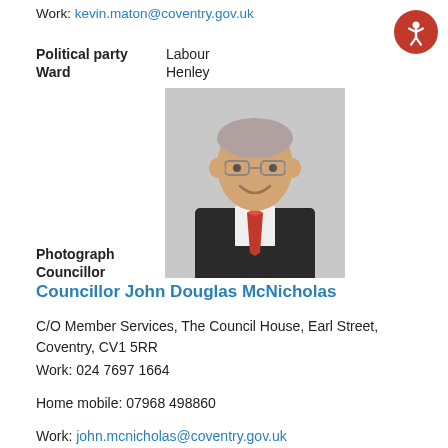Work: kevin.maton@coventry.gov.uk
Political party   Labour
Ward   Henley
[Figure (photo): Portrait photograph of Councillor, middle-aged man with glasses, grey hair, wearing dark suit and red striped tie, smiling]
Photograph Councillor
Councillor John Douglas McNicholas
C/O Member Services, The Council House, Earl Street, Coventry, CV1 5RR
Work: 024 7697 1664
Home mobile: 07968 498860
Work: john.mcnicholas@coventry.gov.uk